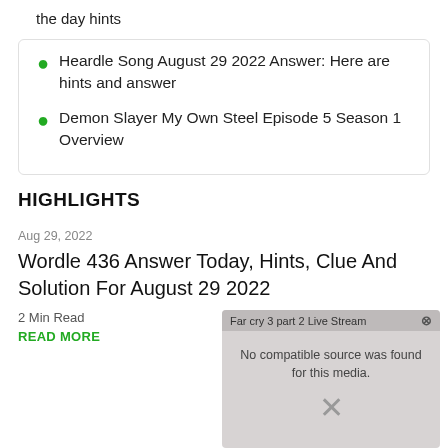the day hints
Heardle Song August 29 2022 Answer: Here are hints and answer
Demon Slayer My Own Steel Episode 5 Season 1 Overview
HIGHLIGHTS
Aug 29, 2022
Wordle 436 Answer Today, Hints, Clue And Solution For August 29 2022
2 Min Read
READ MORE
[Figure (screenshot): Video overlay showing 'Far cry 3 part 2 Live Stream' with message 'No compatible source was found for this media.' and a close X button]